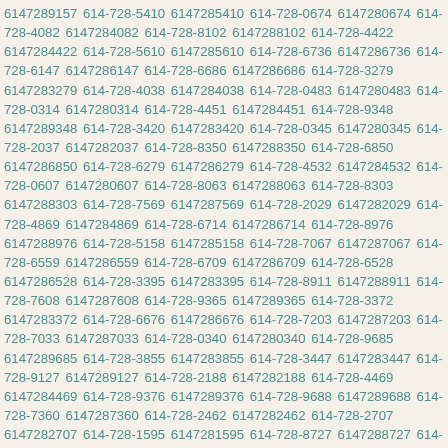6147289157 614-728-5410 6147285410 614-728-0674 6147280674 614-728-4082 6147284082 614-728-8102 6147288102 614-728-4422 6147284422 614-728-5610 6147285610 614-728-6736 6147286736 614-728-6147 6147286147 614-728-6686 6147286686 614-728-3279 6147283279 614-728-4038 6147284038 614-728-0483 6147280483 614-728-0314 6147280314 614-728-4451 6147284451 614-728-9348 6147289348 614-728-3420 6147283420 614-728-0345 6147280345 614-728-2037 6147282037 614-728-8350 6147288350 614-728-6850 6147286850 614-728-6279 6147286279 614-728-4532 6147284532 614-728-0607 6147280607 614-728-8063 6147288063 614-728-8303 6147288303 614-728-7569 6147287569 614-728-2029 6147282029 614-728-4869 6147284869 614-728-6714 6147286714 614-728-8976 6147288976 614-728-5158 6147285158 614-728-7067 6147287067 614-728-6559 6147286559 614-728-6709 6147286709 614-728-6528 6147286528 614-728-3395 6147283395 614-728-8911 6147288911 614-728-7608 6147287608 614-728-9365 6147289365 614-728-3372 6147283372 614-728-6676 6147286676 614-728-7203 6147287203 614-728-7033 6147287033 614-728-0340 6147280340 614-728-9685 6147289685 614-728-3855 6147283855 614-728-3447 6147283447 614-728-9127 6147289127 614-728-2188 6147282188 614-728-4469 6147284469 614-728-9376 6147289376 614-728-9688 6147289688 614-728-7360 6147287360 614-728-2462 6147282462 614-728-2707 6147282707 614-728-1595 6147281595 614-728-8727 6147288727 614-728-9864 6147289864 614-728-5150 6147285150 614-728-9216 6147289216 614-728-6040 6147286040 614-728-0366 6147280366 614-728-8795 6147288795 614-728-7978 6147287978 614-728-3907